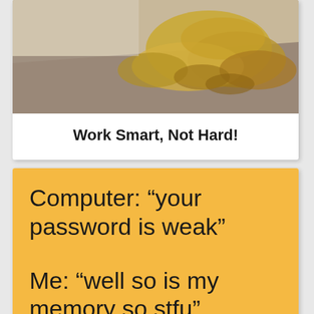[Figure (photo): Photo of autumn leaves scattered on a surface, partially cropped at the top of the card]
Work Smart, Not Hard!
[Figure (infographic): Orange/yellow background meme card with two lines of text: 'Computer: your password is weak' and 'Me: well so is my memory so stfu']
Computer: “your password is weak”

Me: “well so is my memory so stfu”